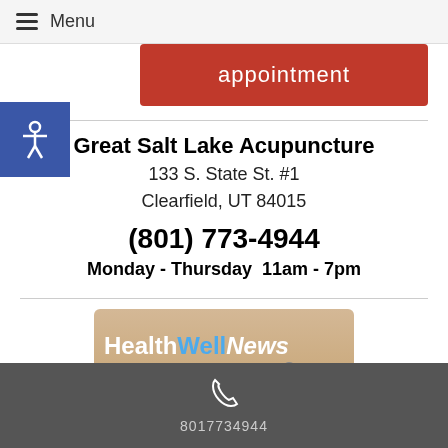Menu
appointment
Great Salt Lake Acupuncture
133 S. State St. #1
Clearfield, UT 84015
(801) 773-4944
Monday - Thursday  11am - 7pm
[Figure (logo): HealthWellNews Summer newsletter logo on tan/brown background]
8017734944